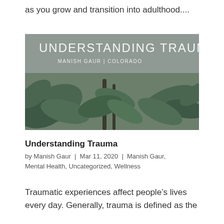as you grow and transition into adulthood....
[Figure (photo): Blog post thumbnail image with title 'UNDERSTANDING TRAUMA' overlaid on a photo of green plant leaves against a grey background. Subtitle reads 'MANISH GAUR | COLORADO'.]
Understanding Trauma
by Manish Gaur | Mar 11, 2020 | Manish Gaur, Mental Health, Uncategorized, Wellness
Traumatic experiences affect people’s lives every day. Generally, trauma is defined as the